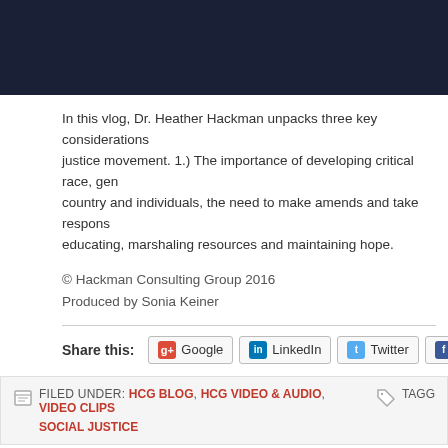[Figure (photo): Dark navy/dark blue header image area at top of page]
In this vlog, Dr. Heather Hackman unpacks three key considerations for the social justice movement. 1.) The importance of developing critical race, gen... country and individuals, the need to make amends and take respons... educating, marshaling resources and maintaining hope.
© Hackman Consulting Group 2016
Produced by Sonia Keiner
Share this: Google LinkedIn Twitter Facebook
FILED UNDER: HCG BLOG, HCG VIDEO & AUDIO, VIDEO CLIPS TAGG... SOCIAL JUSTICE
CLIMATE JUSTICE AND SOCIAL JUST... SEQUENTIAL ISSUES